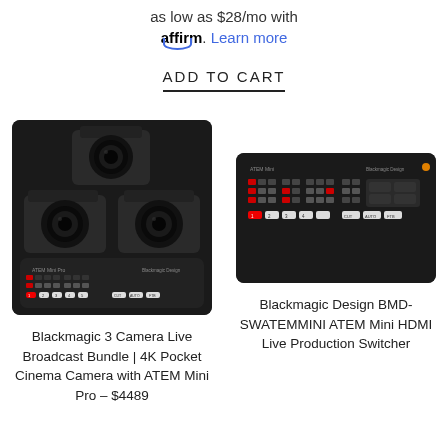as low as $28/mo with affirm. Learn more
ADD TO CART
[Figure (photo): Blackmagic 3 Camera Live Broadcast Bundle showing three 4K Pocket Cinema Cameras stacked with an ATEM Mini Pro switcher below]
[Figure (photo): Blackmagic Design BMD-SWATEMMINI ATEM Mini HDMI Live Production Switcher]
Blackmagic 3 Camera Live Broadcast Bundle | 4K Pocket Cinema Camera with ATEM Mini Pro – $4489
Blackmagic Design BMD-SWATEMMINI ATEM Mini HDMI Live Production Switcher